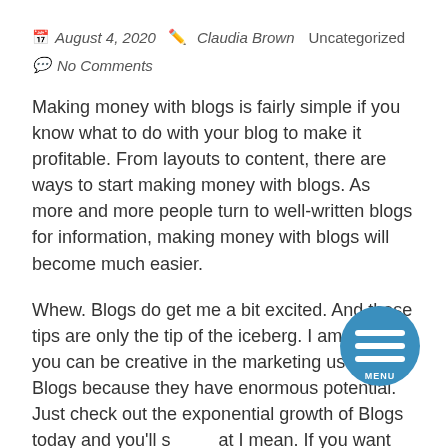August 4, 2020  Claudia Brown  Uncategorized
No Comments
Making money with blogs is fairly simple if you know what to do with your blog to make it profitable. From layouts to content, there are ways to start making money with blogs. As more and more people turn to well-written blogs for information, making money with blogs will become much easier.
Whew. Blogs do get me a bit excited. And these tips are only the tip of the iceberg. I am sure you can be creative in the marketing use of your Blogs because they have enormous potential. Just check out the exponential growth of Blogs today and you'll see what I mean. If you want fresh Blog ideas, all you have to do is cruise through a few of them. Check out what the pros are doing and, do the same. Remember, imitation
[Figure (other): Circular MENU button overlay with hamburger icon lines, teal/blue background]